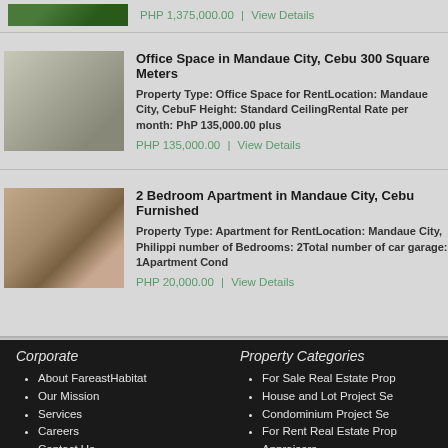PHP 1,375,000.00 | View Details
Office Space in Mandaue City, Cebu 300 Square Meters
Property Type: Office Space for RentLocation: Mandaue City, CebuF Height: Standard CeilingRental Rate per month: PhP 135,000.00 plus
PHP 135,000.00 | View Details
2 Bedroom Apartment in Mandaue City, Cebu Furnished
Property Type: Apartment for RentLocation: Mandaue City, Philippi number of Bedrooms: 2Total number of car garage: 1Apartment Cond
PHP 20,000.00 | View Details
Corporate
About FareastHabitat
Our Mission
Services
Careers
Contact Us
Blogs
Property Categories
For Sale Real Estate Prop
House and Lot Project Se
Condominium Project Se
For Rent Real Estate Prop
Appraisers
Soil Boring Test